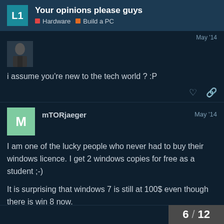Your opinions please guys | Hardware | Build a PC
May '14
i assume you're new to the tech world ? :P
mTORjaeger    May '14
I am one of the lucky people who never had to buy their windows licence. I get 2 windows copies for free as a student ;-)
It is surprising that windows 7 is still at 100$ even though there is win 8 now.
6 / 12